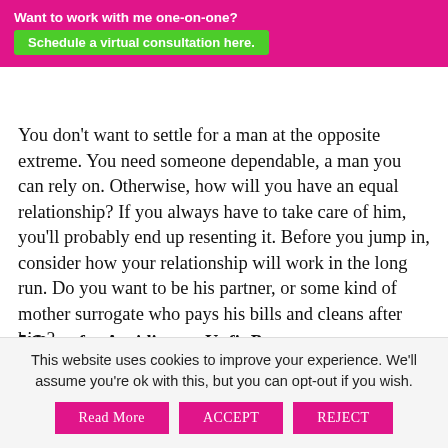Want to work with me one-on-one? Schedule a virtual consultation here.
You don't want to settle for a man at the opposite extreme. You need someone dependable, a man you can rely on. Otherwise, how will you have an equal relationship? If you always have to take care of him, you'll probably end up resenting it. Before you jump in, consider how your relationship will work in the long run. Do you want to be his partner, or some kind of mother surrogate who pays his bills and cleans after him?
5 Steps for Avoiding an Unfit Partner
This website uses cookies to improve your experience. We'll assume you're ok with this, but you can opt-out if you wish.
Read More   ACCEPT   REJECT